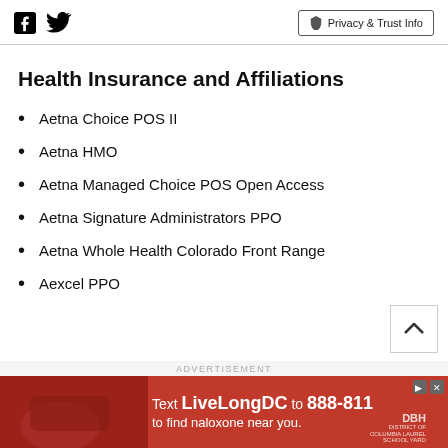Facebook | Twitter | Privacy & Trust Info
Health Insurance and Affiliations
Aetna Choice POS II
Aetna HMO
Aetna Managed Choice POS Open Access
Aetna Signature Administrators PPO
Aetna Whole Health Colorado Front Range
Aexcel PPO
ADVERTISEMENT
[Figure (photo): Advertisement banner: Text LiveLongDC to 888-811 to find naloxone near you. Red background with image of hands holding naloxone kit.]